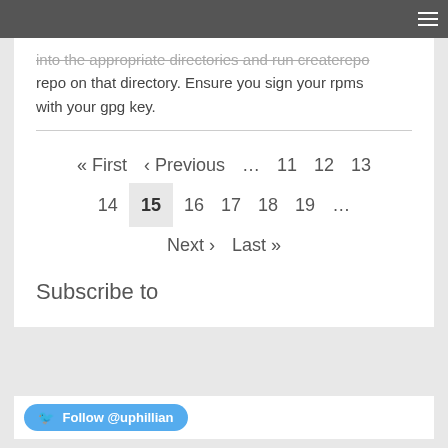into the appropriate directories and run createrepo on that directory. Ensure you sign your rpms with your gpg key.
« First ‹ Previous … 11 12 13 14 15 16 17 18 19 … Next › Last »
Subscribe to
Follow @uphillian